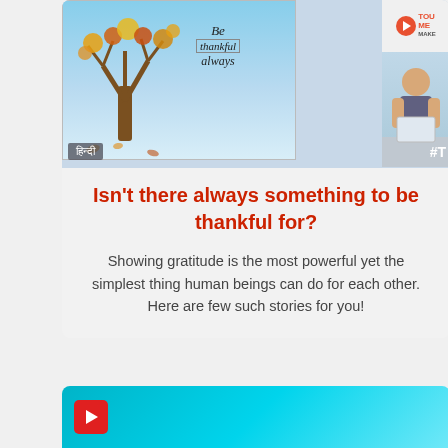[Figure (photo): A decorative painting of a tree with autumn-colored leaves and the text 'Be thankful always' on a light blue background. To the right is a partial logo reading 'TOU...' and a photo of a person at a desk. In the bottom left is a Hindi language label and a hashtag '#T' in the bottom right.]
Isn't there always something to be thankful for?
Showing gratitude is the most powerful yet the simplest thing human beings can do for each other. Here are few such stories for you!
[Figure (screenshot): Bottom card showing a teal/turquoise background with a red YouTube-style play button on the left edge, partially visible.]